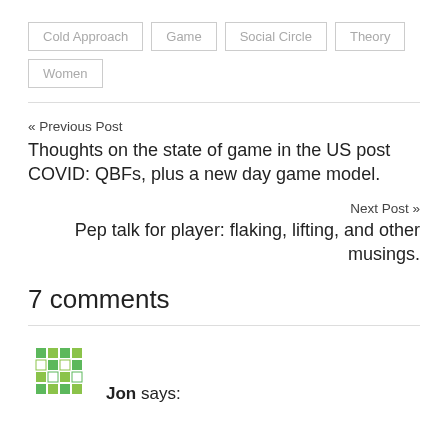Cold Approach
Game
Social Circle
Theory
Women
« Previous Post
Thoughts on the state of game in the US post COVID: QBFs, plus a new day game model.
Next Post »
Pep talk for player: flaking, lifting, and other musings.
7 comments
Jon says: